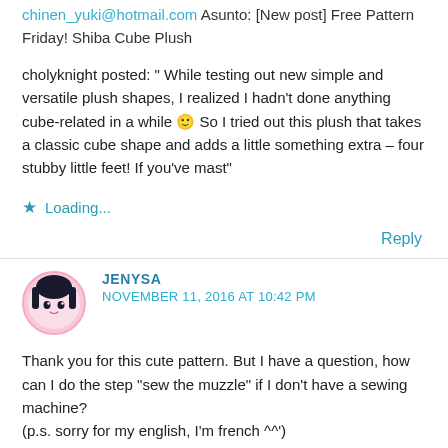chinen_yuki@hotmail.com Asunto: [New post] Free Pattern Friday! Shiba Cube Plush
cholyknight posted: " While testing out new simple and versatile plush shapes, I realized I hadn't done anything cube-related in a while 🙂 So I tried out this plush that takes a classic cube shape and adds a little something extra – four stubby little feet! If you've mast"
★ Loading...
Reply
JENYSA
NOVEMBER 11, 2016 AT 10:42 PM
Thank you for this cute pattern. But I have a question, how can I do the step "sew the muzzle" if I don't have a sewing machine?
(p.s. sorry for my english, I'm french ^^')